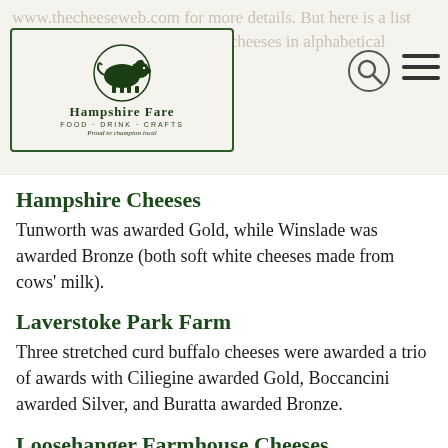www.thecheeseweb.com for more details. But here is a list of our members medal winning cheeses in alphabetical order.
[Figure (logo): Hampshire Fare Food Drink Crafts logo with pig illustration]
Hampshire Cheeses
Tunworth was awarded Gold, while Winslade was awarded Bronze (both soft white cheeses made from cows' milk).
Laverstoke Park Farm
Three stretched curd buffalo cheeses were awarded a trio of awards with Ciliegine awarded Gold, Boccancini awarded Silver, and Buratta awarded Bronze.
Loosehanger Farmhouse Cheeses
Loosehanger Cheeses collected Gold for Hampshire Rose (a 'Modern British' cheese made from Ayrshire cows' milk), a Silver for CarreGwyn (a soft white goats' cheese), and Bronze for Fresh Goat Cheese (a fresh curd cheese made from goats' milk),  Nanny Williams' Blue (a 'Modern Blue' variety) and White Mouton (a soft white cheese made from…